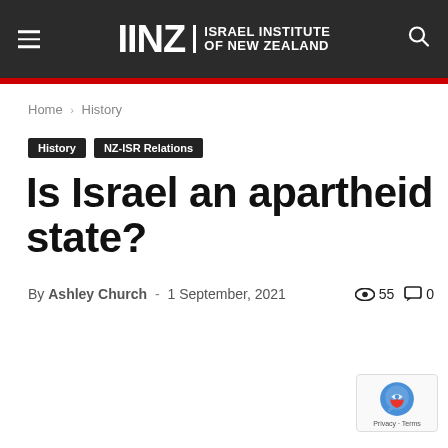IINZ Israel Institute of New Zealand
Home › History
History  NZ-ISR Relations
Is Israel an apartheid state?
By Ashley Church - 1 September, 2021  👁 55  💬 0
[Figure (logo): reCAPTCHA badge with Privacy and Terms links]